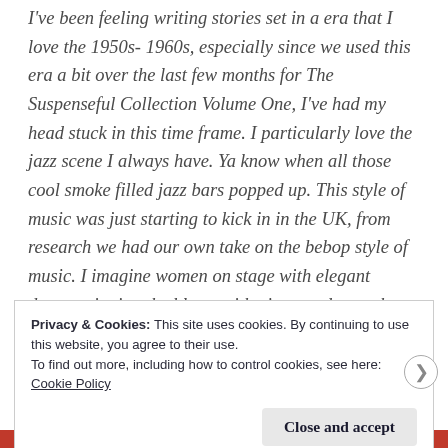I've been feeling writing stories set in a era that I love the 1950s- 1960s, especially since we used this era a bit over the last few months for The Suspenseful Collection Volume One, I've had my head stuck in this time frame. I particularly love the jazz scene I always have. Ya know when all those cool smoke filled jazz bars popped up. This style of music was just starting to kick in in the UK, from research we had our own take on the bebop style of music. I imagine women on stage with elegant dresses singing the blues, with piano and saxophone players in the background. I really like this
Privacy & Cookies: This site uses cookies. By continuing to use this website, you agree to their use.
To find out more, including how to control cookies, see here:
Cookie Policy
Close and accept